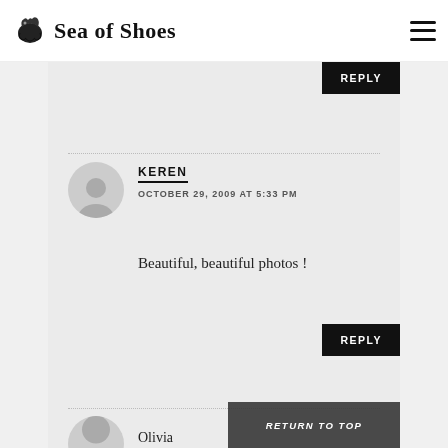Sea of Shoes
REPLY
KEREN
OCTOBER 29, 2009 AT 5:33 PM
Beautiful, beautiful photos !
REPLY
Olivia
RETURN TO TOP